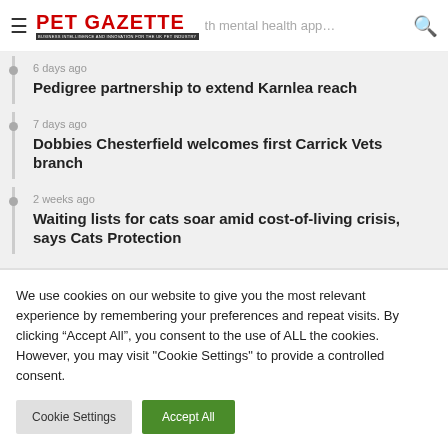PET GAZETTE | …th mental health app…
6 days ago
Pedigree partnership to extend Karnlea reach
7 days ago
Dobbies Chesterfield welcomes first Carrick Vets branch
2 weeks ago
Waiting lists for cats soar amid cost-of-living crisis, says Cats Protection
We use cookies on our website to give you the most relevant experience by remembering your preferences and repeat visits. By clicking "Accept All", you consent to the use of ALL the cookies. However, you may visit "Cookie Settings" to provide a controlled consent.